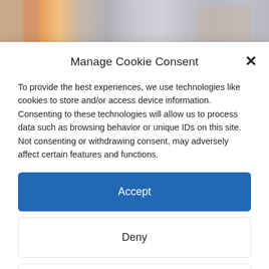[Figure (photo): Partial view of a room or storefront with warm brown/orange tones and a blurred sign in the background, cropped at the top of the page.]
Manage Cookie Consent
To provide the best experiences, we use technologies like cookies to store and/or access device information. Consenting to these technologies will allow us to process data such as browsing behavior or unique IDs on this site. Not consenting or withdrawing consent, may adversely affect certain features and functions.
Accept
Deny
View preferences
Cookie Policy   Privacy Policy